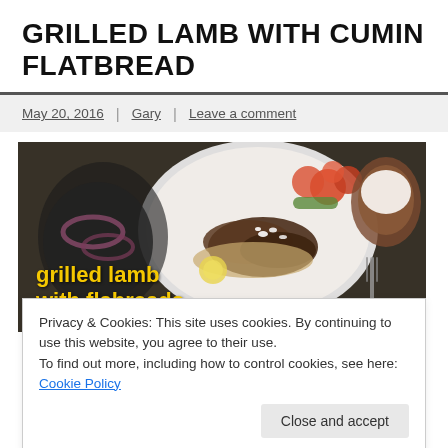GRILLED LAMB WITH CUMIN FLATBREAD
May 20, 2016 | Gary | Leave a comment
[Figure (photo): Food photo of grilled lamb with flatbreads on a plate with tomatoes and salad, dark background. Yellow text overlay reads 'grilled lamb with flabreads'.]
Jump to Recipe   Print Recipe
Privacy & Cookies: This site uses cookies. By continuing to use this website, you agree to their use.
To find out more, including how to control cookies, see here: Cookie Policy
Close and accept
mine won a burger competition with a cracking lamb